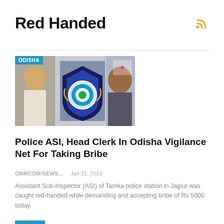Red Handed
[Figure (photo): News article image with ODISHA tag overlay showing a police officer and Odisha Vigilance badge]
Police ASI, Head Clerk In Odisha Vigilance Net For Taking Bribe
OMMCOM NEWS...    Jan 31, 2019
Assistant Sub-Inspector (ASI) of Tamka police station in Jajpur was caught red-handed while demanding and accepting bribe of Rs 5000 today.